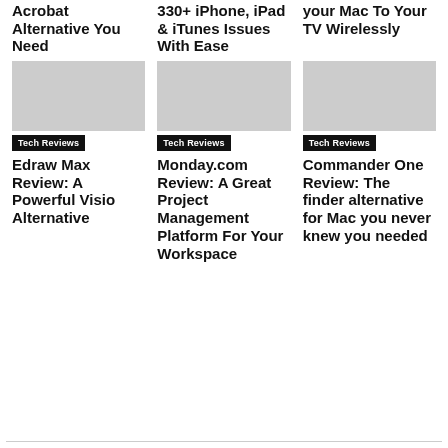Acrobat Alternative You Need
330+ iPhone, iPad & iTunes Issues With Ease
your Mac To Your TV Wirelessly
Tech Reviews
Edraw Max Review: A Powerful Visio Alternative
Tech Reviews
Monday.com Review: A Great Project Management Platform For Your Workspace
Tech Reviews
Commander One Review: The finder alternative for Mac you never knew you needed